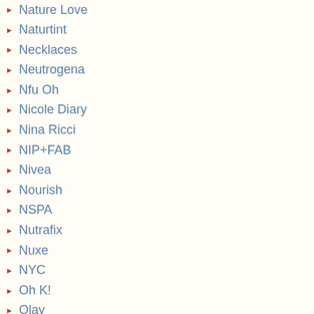Nature Love
Naturtint
Necklaces
Neutrogena
Nfu Oh
Nicole Diary
Nina Ricci
NIP+FAB
Nivea
Nourish
NSPA
Nutrafix
Nuxe
NYC
Oh K!
Olay
OM SHE Aromatherapy
Oriflame
Original Source
Orly